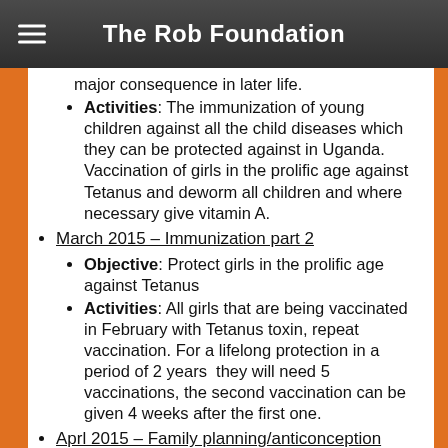The Rob Foundation
major consequence in later life.
Activities: The immunization of young children against all the child diseases which they can be protected against in Uganda. Vaccination of girls in the prolific age against Tetanus and deworm all children and where necessary give vitamin A.
March 2015 – Immunization part 2
Objective: Protect girls in the prolific age against Tetanus
Activities: All girls that are being vaccinated in February with Tetanus toxin, repeat vaccination. For a lifelong protection in a period of 2 years  they will need 5 vaccinations, the second vaccination can be given 4 weeks after the first one.
Aprl 2015 – Family planning/anticonception
Objective: Create awareness of the possibilities of family planning and to enabling mothers to do this in a healthy way.